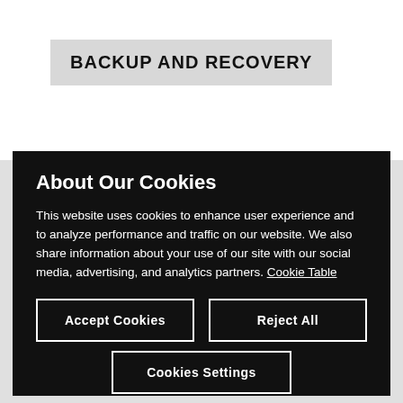BACKUP AND RECOVERY
About Our Cookies
This website uses cookies to enhance user experience and to analyze performance and traffic on our website. We also share information about your use of our site with our social media, advertising, and analytics partners. Cookie Table
Accept Cookies
Reject All
Cookies Settings